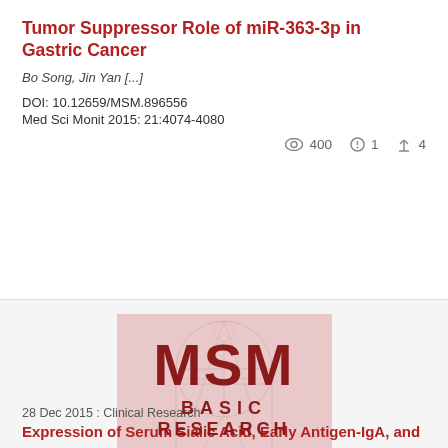Tumor Suppressor Role of miR-363-3p in Gastric Cancer
Bo Song, Jin Yan [...]
DOI: 10.12659/MSM.896556
Med Sci Monit 2015: 21:4074-4080
👁 400  🕐 1  🍴 4
[Figure (logo): MSM Basic Research Editorial journal logo with Vitruvian man background, dark red color scheme]
28 Dec 2015 : Clinical Research
Expression of Serum Sialic Acid, Early Antigen-IgA, and